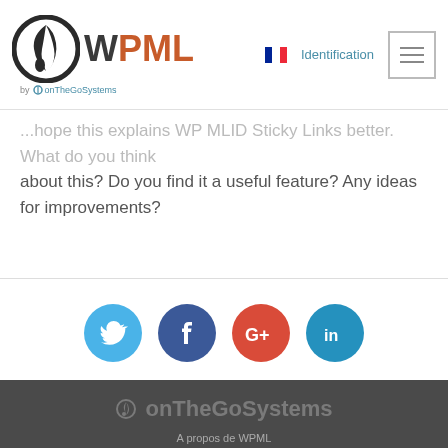WPML by onTheGoSystems — Identification
...hope this explains WP MLID Sticky Links better. What do you think about this? Do you find it a useful feature? Any ideas for improvements?
[Figure (infographic): Social media share icons: Twitter (blue), Facebook (dark blue), Google+ (red), LinkedIn (blue)]
onTheGoSystems — A propos de WPML — Emplois de développement et d'assistance WordPress